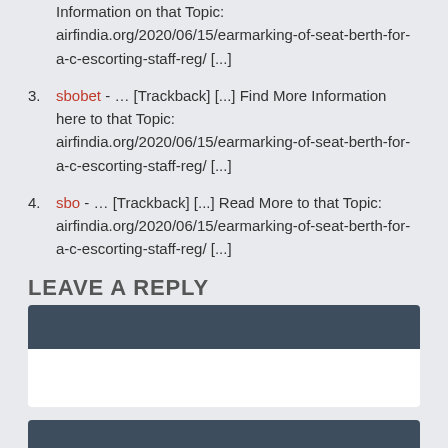Information on that Topic: airfindia.org/2020/06/15/earmarking-of-seat-berth-for-a-c-escorting-staff-reg/ [...]
sbobet - ... [Trackback] [...] Find More Information here to that Topic: airfindia.org/2020/06/15/earmarking-of-seat-berth-for-a-c-escorting-staff-reg/ [...]
sbo - ... [Trackback] [...] Read More to that Topic: airfindia.org/2020/06/15/earmarking-of-seat-berth-for-a-c-escorting-staff-reg/ [...]
LEAVE A REPLY
You must be logged in to post a comment.